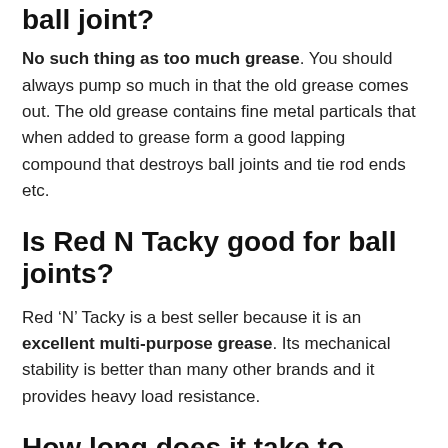ball joint?
No such thing as too much grease. You should always pump so much in that the old grease comes out. The old grease contains fine metal particals that when added to grease form a good lapping compound that destroys ball joints and tie rod ends etc.
Is Red N Tacky good for ball joints?
Red ‘N’ Tacky is a best seller because it is an excellent multi-purpose grease. Its mechanical stability is better than many other brands and it provides heavy load resistance.
How long does it take to replace